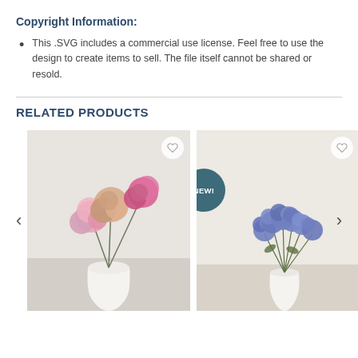Copyright Information:
This .SVG includes a commercial use license. Feel free to use the design to create items to sell. The file itself cannot be shared or resold.
RELATED PRODUCTS
[Figure (photo): Pink and peach carnation flowers in a white vase on a light background]
[Figure (photo): Blue tulip/rose flowers in a white vase on a beige background, with a NEW! badge]